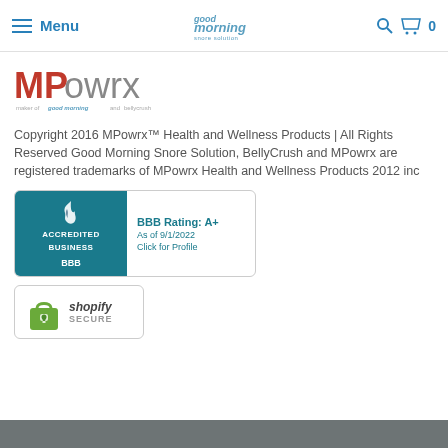Menu | good morning snore solution | 0
[Figure (logo): MPowrx logo in red and grey text with tagline 'maker of good morning and bellycrush']
Copyright 2016 MPowrx™ Health and Wellness Products | All Rights Reserved Good Morning Snore Solution, BellyCrush and MPowrx are registered trademarks of MPowrx Health and Wellness Products 2012 inc
[Figure (logo): BBB Accredited Business badge with rating A+ as of 9/1/2022 and Click for Profile link]
[Figure (logo): Shopify Secure badge with green lock icon]